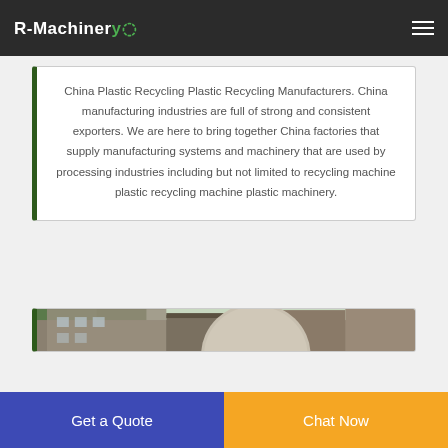R-Machinery
China Plastic Recycling Plastic Recycling Manufacturers. China manufacturing industries are full of strong and consistent exporters. We are here to bring together China factories that supply manufacturing systems and machinery that are used by processing industries including but not limited to recycling machine plastic recycling machine plastic machinery.
[Figure (photo): Outdoor industrial facility with large machinery equipment and vehicles visible, trees in background.]
Get a Quote
Chat Now